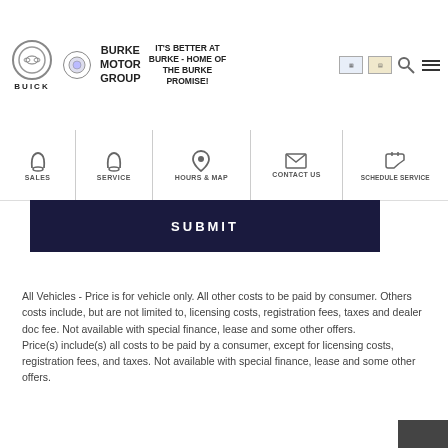BUICK | BURKE MOTOR GROUP | IT'S BETTER AT BURKE - HOME OF THE BURKE PROMISE!
[Figure (screenshot): Navigation bar with SALES, SERVICE, HOURS & MAP, CONTACT US, SCHEDULE SERVICE icons]
[Figure (screenshot): Dark navy SUBMIT button]
All Vehicles - Price is for vehicle only. All other costs to be paid by consumer. Others costs include, but are not limited to, licensing costs, registration fees, taxes and dealer doc fee. Not available with special finance, lease and some other offers.
Price(s) include(s) all costs to be paid by a consumer, except for licensing costs, registration fees, and taxes. Not available with special finance, lease and some other offers.